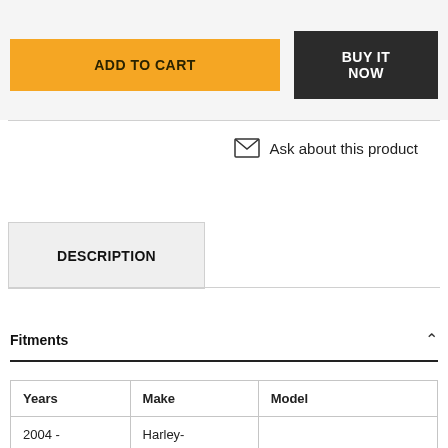ADD TO CART
BUY IT NOW
Ask about this product
DESCRIPTION
Fitments
| Years | Make | Model |
| --- | --- | --- |
| 2004 - | Harley- |  |